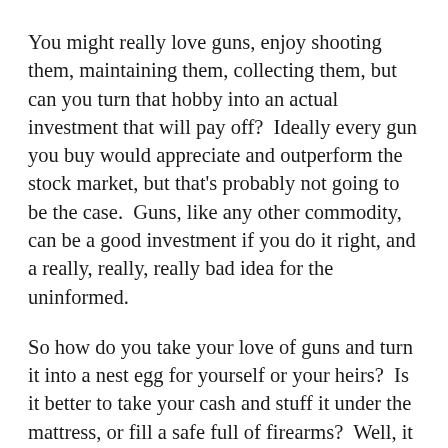You might really love guns, enjoy shooting them, maintaining them, collecting them, but can you turn that hobby into an actual investment that will pay off?  Ideally every gun you buy would appreciate and outperform the stock market, but that's probably not going to be the case.  Guns, like any other commodity, can be a good investment if you do it right, and a really, really, really bad idea for the uninformed.
So how do you take your love of guns and turn it into a nest egg for yourself or your heirs?  Is it better to take your cash and stuff it under the mattress, or fill a safe full of firearms?  Well, it depends.